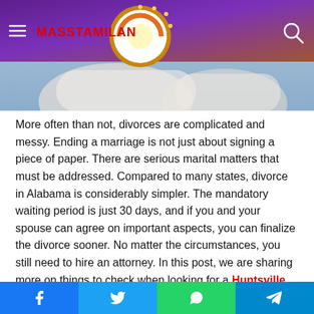[Figure (screenshot): Website header with MassTamilan logo, hamburger menu, search icon on purple/brown gradient background, overlaid on hero image of two people in white clothing]
More often than not, divorces are complicated and messy. Ending a marriage is not just about signing a piece of paper. There are serious marital matters that must be addressed. Compared to many states, divorce in Alabama is considerably simpler. The mandatory waiting period is just 30 days, and if you and your spouse can agree on important aspects, you can finalize the divorce sooner. No matter the circumstances, you still need to hire an attorney. In this post, we are sharing more on things to check when looking for a Huntsville divorce lawyer near me.
[Figure (screenshot): Social share bar with Facebook, Twitter, WhatsApp, and Telegram buttons]